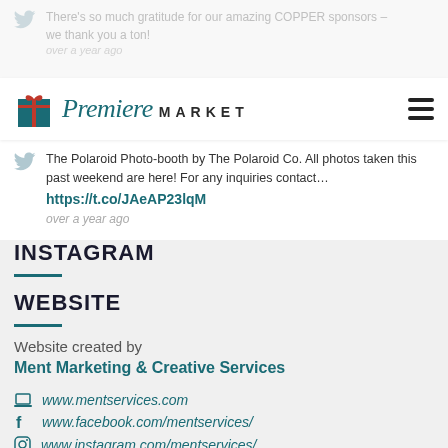[Figure (screenshot): Faded Twitter/social media post at top of page, partially visible]
[Figure (logo): Premiere Market logo with gift box icon, script Premiere text and uppercase MARKET text, hamburger menu icon on right]
The Polaroid Photo-booth by The Polaroid Co. All photos taken this past weekend are here! For any inquiries contact…
https://t.co/JAeAP23lqM
over a year ago
INSTAGRAM
WEBSITE
Website created by
Ment Marketing & Creative Services
www.mentservices.com
www.facebook.com/mentservices/
www.instagram.com/mentservices/